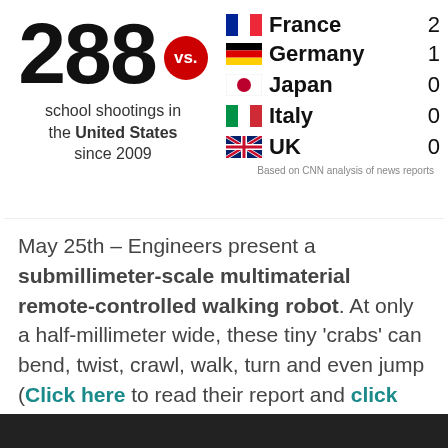[Figure (infographic): Infographic showing 288 school shootings in the United States since 2009 vs. other countries: France 2, Germany 1, Japan 0, Italy 0, UK 0. Based on CNN analysis of news reports.]
May 25th – Engineers present a submillimeter-scale multimaterial remote-controlled walking robot. At only a half-millimeter wide, these tiny 'crabs' can bend, twist, crawl, walk, turn and even jump (Click here to read their report and click here to read the press summary).